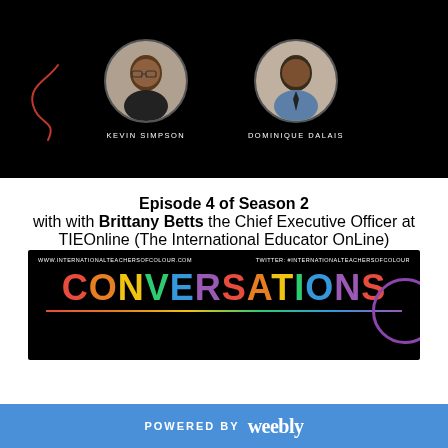[Figure (photo): Black banner with two circular headshot photos. Left: Kevin Simpson, a man with glasses. Right: Dominique Dalais, a man in a collared shirt. Both labeled with their names in white uppercase text. A red squiggly line decorates the left side.]
Episode 4 of Season 2 with with Brittany Betts the Chief Executive Officer at TIEOnline (The International Educator OnLine)
[Figure (infographic): Black banner with 'CONVERSATIONS' in multicolor rainbow letters, website URL on left (www.internationalteachersofcolour.com), Twitter handle on right (#internationalteachersofcolour), underlined with a rainbow gradient line, and a purple circle decoration on the right.]
POWERED BY weebly